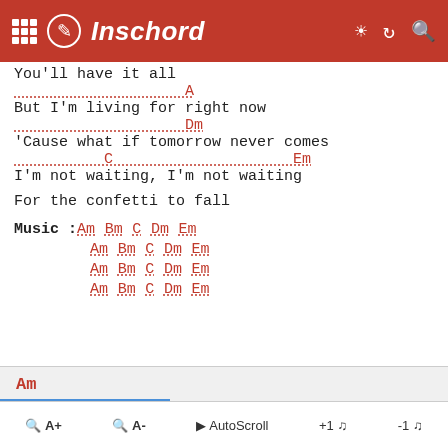Inschord
You'll have it all
A
But I'm living for right now
Dm
'Cause what if tomorrow never comes
C                         Em
I'm not waiting, I'm not waiting
For the confetti to fall
Music : Am Bm C Dm Em
        Am Bm C Dm Em
        Am Bm C Dm Em
        Am Bm C Dm Em
Am | Q A+ | Q A- | AutoScroll | +1 | -1